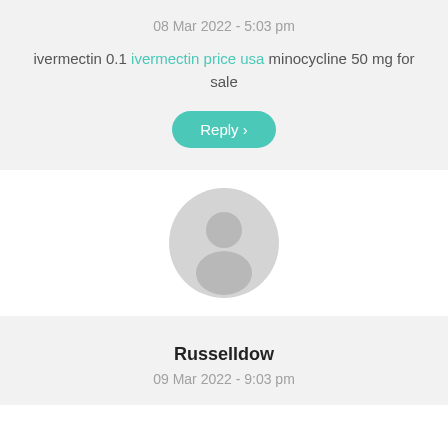08 Mar 2022 - 5:03 pm
ivermectin 0.1 ivermectin price usa minocycline 50 mg for sale
Reply >
[Figure (illustration): Generic user avatar icon — a gray circle with a person silhouette inside]
Russelldow
09 Mar 2022 - 9:03 pm